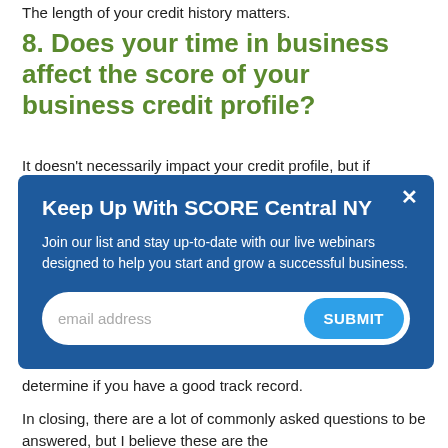The length of your credit history matters.
8. Does your time in business affect the score of your business credit profile?
It doesn't necessarily impact your credit profile, but if
[Figure (screenshot): Email signup modal overlay with blue background. Title: 'Keep Up With SCORE Central NY'. Body text: 'Join our list and stay up-to-date with our live webinars designed to help you start and grow a successful business.' Email input field with SUBMIT button. Close X button in top right.]
determine if you have a good track record.
In closing, there are a lot of commonly asked questions to be answered, but I believe these are the